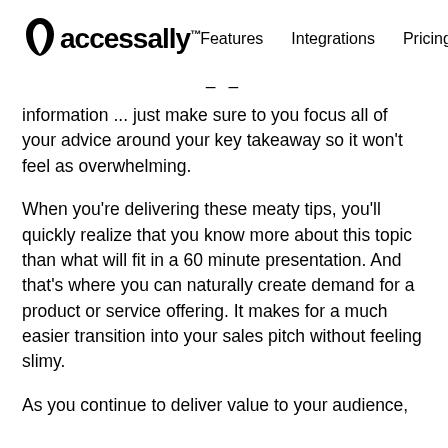accessally™  Features  Integrations  Pricing
information ... just make sure to you focus all of your advice around your key takeaway so it won't feel as overwhelming.
When you're delivering these meaty tips, you'll quickly realize that you know more about this topic than what will fit in a 60 minute presentation. And that's where you can naturally create demand for a product or service offering. It makes for a much easier transition into your sales pitch without feeling slimy.
As you continue to deliver value to your audience,